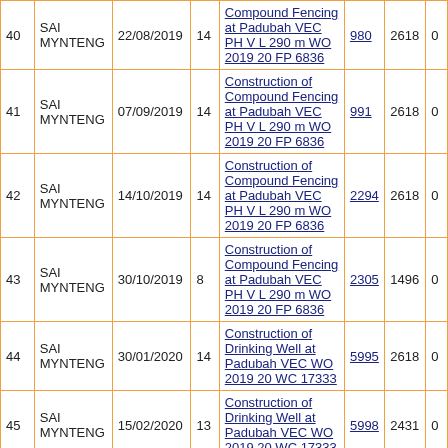| # | Township | Date | Col4 | Description | WO | Amount | 0 |
| --- | --- | --- | --- | --- | --- | --- | --- |
| 40 | SAI MYNTENG | 22/08/2019 | 14 | Compound Fencing at Padubah VEC PH V L 290 m WO 2019 20 FP 6836 | 980 | 2618 | 0 |
| 41 | SAI MYNTENG | 07/09/2019 | 14 | Construction of Compound Fencing at Padubah VEC PH V L 290 m WO 2019 20 FP 6836 | 991 | 2618 | 0 |
| 42 | SAI MYNTENG | 14/10/2019 | 14 | Construction of Compound Fencing at Padubah VEC PH V L 290 m WO 2019 20 FP 6836 | 2294 | 2618 | 0 |
| 43 | SAI MYNTENG | 30/10/2019 | 8 | Construction of Compound Fencing at Padubah VEC PH V L 290 m WO 2019 20 FP 6836 | 2305 | 1496 | 0 |
| 44 | SAI MYNTENG | 30/01/2020 | 14 | Construction of Drinking Well at Padubah VEC WO 2019 20 WC 17333 | 5995 | 2618 | 0 |
| 45 | SAI MYNTENG | 15/02/2020 | 13 | Construction of Drinking Well at Padubah VEC WO 2019 20 WC 17333 | 5998 | 2431 | 0 |
| 46 | SAI MYNTENG |  |  | Construction of |  |  |  |